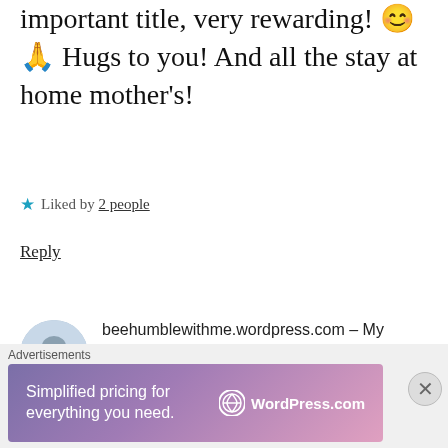important title, very rewarding! 😊🙏 Hugs to you! And all the stay at home mother's!
★ Liked by 2 people
Reply
beehumblewithme.wordpress.com – My Journey as a Housewife...
August 12, 2018 at 7:07 pm
Thank you dear! My favorite place is at home or the library! I'm a home body or
Advertisements
[Figure (screenshot): WordPress.com advertisement banner: 'Simplified pricing for everything you need.' with WordPress.com logo]